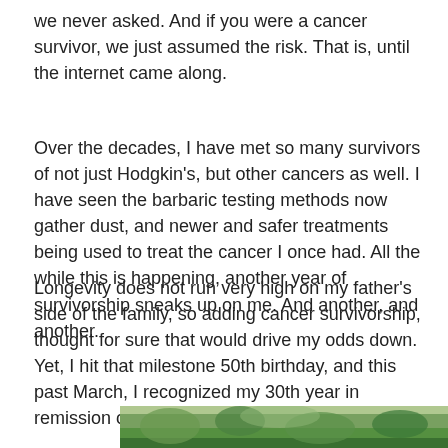we never asked.  And if you were a cancer survivor, we just assumed the risk.  That is, until the internet came along.
Over the decades, I have met so many survivors of not just Hodgkin's, but other cancers as well.  I have seen the barbaric testing methods now gather dust, and newer and safer treatments being used to treat the cancer I once had.  All the while this is happening, another year of survivorship sneaks up on me.  And another, and another.
Longevity does not run very high on my father's side of the family, so adding cancer survivorship, thought for sure that would drive my odds down.  Yet, I hit that milestone 50th birthday, and this past March, I recognized my 30th year in remission of Hodgkin's Lymphoma.
[Figure (photo): Partial bottom edge of an outdoor photo showing green foliage/trees]